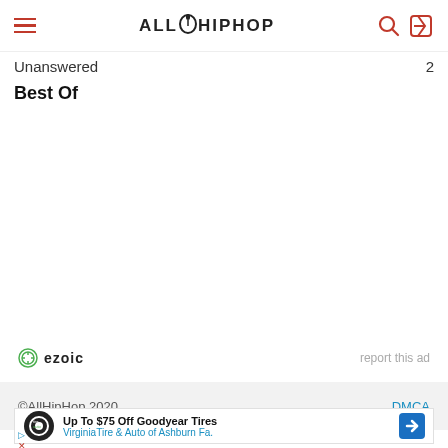AllHipHop
Unanswered
Best Of
[Figure (logo): Ezoic logo with green circle icon and text 'ezoic', with 'report this ad' link on the right]
©AllHipHop 2020   DMCA
[Figure (other): Advertisement: Up To $75 Off Goodyear Tires - VirginiaTire & Auto of Ashburn Fa. with tire auto logo and blue arrow icon]